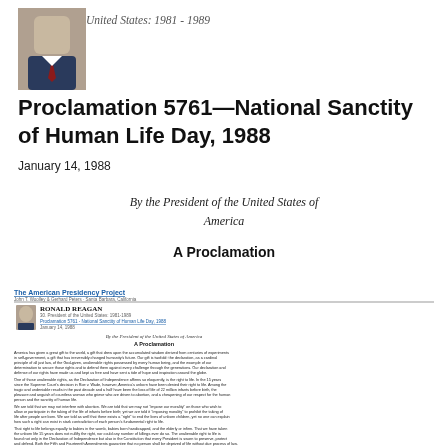[Figure (photo): Portrait photo of Ronald Reagan in suit and tie]
United States: 1981 - 1989
Proclamation 5761—National Sanctity of Human Life Day, 1988
January 14, 1988
By the President of the United States of America
A Proclamation
[Figure (screenshot): Screenshot of The American Presidency Project webpage showing Ronald Reagan's Proclamation 5761 - National Sanctity of Human Life Day, 1988 with body text of the proclamation]